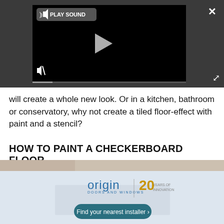[Figure (screenshot): Video player embedded in a dark gray background showing a black video frame with a play sound button, play triangle button, mute button, close X button, and expand button.]
will create a whole new look. Or in a kitchen, bathroom or conservatory, why not create a tiled floor-effect with paint and a stencil?
HOW TO PAINT A CHECKERBOARD FLOOR
[Figure (photo): Partial photo of a floor visible at the bottom, with an advertisement banner for Origin Doors and Windows showing a 20 Years of Innovation badge and a 'Find your nearest installer' button.]